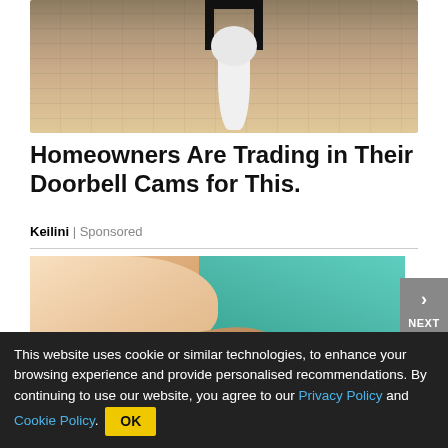[Figure (photo): Photo of a doorbell camera or outdoor light fixture mounted on a textured wall, showing a metal bracket and white bulb.]
Homeowners Are Trading in Their Doorbell Cams for This.
Keilini | Sponsored
[Figure (photo): Close-up photo of a person scratching their chest/skin area, wearing a teal top, with red-painted fingernails.]
This website uses cookie or similar technologies, to enhance your browsing experience and provide personalised recommendations. By continuing to use our website, you agree to our Privacy Policy and Cookie Policy.